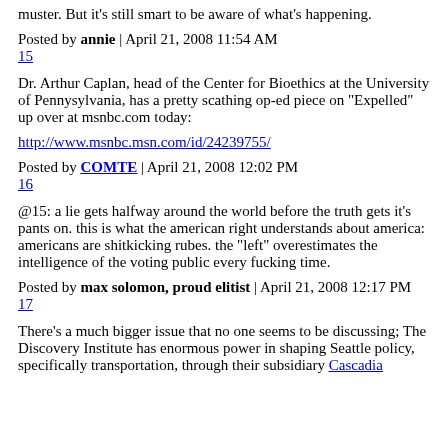muster. But it's still smart to be aware of what's happening.
Posted by annie | April 21, 2008 11:54 AM
15
Dr. Arthur Caplan, head of the Center for Bioethics at the University of Pennysylvania, has a pretty scathing op-ed piece on "Expelled" up over at msnbc.com today:
http://www.msnbc.msn.com/id/24239755/
Posted by COMTE | April 21, 2008 12:02 PM
16
@15: a lie gets halfway around the world before the truth gets it's pants on. this is what the american right understands about america: americans are shitkicking rubes. the "left" overestimates the intelligence of the voting public every fucking time.
Posted by max solomon, proud elitist | April 21, 2008 12:17 PM
17
There's a much bigger issue that no one seems to be discussing; The Discovery Institute has enormous power in shaping Seattle policy, specifically transportation, through their subsidiary Cascadia